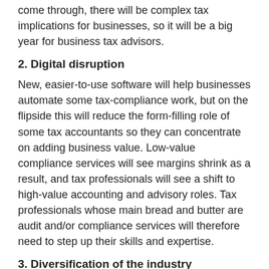come through, there will be complex tax implications for businesses, so it will be a big year for business tax advisors.
2. Digital disruption
New, easier-to-use software will help businesses automate some tax-compliance work, but on the flipside this will reduce the form-filling role of some tax accountants so they can concentrate on adding business value. Low-value compliance services will see margins shrink as a result, and tax professionals will see a shift to high-value accounting and advisory roles. Tax professionals whose main bread and butter are audit and/or compliance services will therefore need to step up their skills and expertise.
3. Diversification of the industry
The accounting sector has been in turmoil for the past year as poor economic conditions have caused accounting clients to pull back on spend. The big winner from this is diversification. Firms that offer tax and business advisory services are, in opposition to trend, thriving. According to